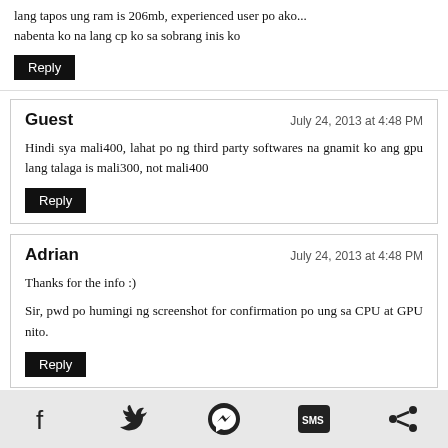lang tapos ung ram is 206mb, experienced user po ako... nabenta ko na lang cp ko sa sobrang inis ko
Reply
Guest — July 24, 2013 at 4:48 PM
Hindi sya mali400, lahat po ng third party softwares na gnamit ko ang gpu lang talaga is mali300, not mali400
Reply
Adrian — July 24, 2013 at 4:48 PM
Thanks for the info :)
Sir, pwd po humingi ng screenshot for confirmation po ung sa CPU at GPU nito.
Reply
Social share icons: Facebook, Twitter, Messenger, SMS, Share